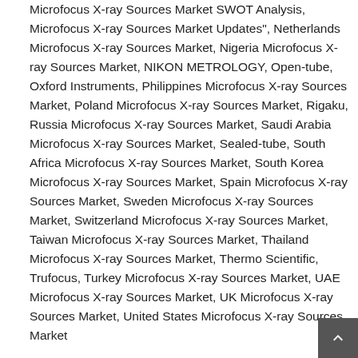Microfocus X-ray Sources Market SWOT Analysis, Microfocus X-ray Sources Market Updates", Netherlands Microfocus X-ray Sources Market, Nigeria Microfocus X-ray Sources Market, NIKON METROLOGY, Open-tube, Oxford Instruments, Philippines Microfocus X-ray Sources Market, Poland Microfocus X-ray Sources Market, Rigaku, Russia Microfocus X-ray Sources Market, Saudi Arabia Microfocus X-ray Sources Market, Sealed-tube, South Africa Microfocus X-ray Sources Market, South Korea Microfocus X-ray Sources Market, Spain Microfocus X-ray Sources Market, Sweden Microfocus X-ray Sources Market, Switzerland Microfocus X-ray Sources Market, Taiwan Microfocus X-ray Sources Market, Thailand Microfocus X-ray Sources Market, Thermo Scientific, Trufocus, Turkey Microfocus X-ray Sources Market, UAE Microfocus X-ray Sources Market, UK Microfocus X-ray Sources Market, United States Microfocus X-ray Sources Market
SHARE
Facebook  Twitter  Pinterest  Linkedin